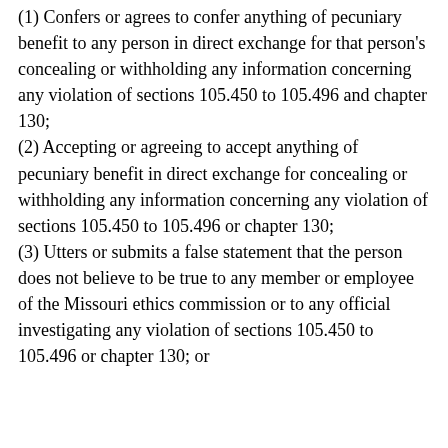(1) Confers or agrees to confer anything of pecuniary benefit to any person in direct exchange for that person's concealing or withholding any information concerning any violation of sections 105.450 to 105.496 and chapter 130;
(2) Accepting or agreeing to accept anything of pecuniary benefit in direct exchange for concealing or withholding any information concerning any violation of sections 105.450 to 105.496 or chapter 130;
(3) Utters or submits a false statement that the person does not believe to be true to any member or employee of the Missouri ethics commission or to any official investigating any violation of sections 105.450 to 105.496 or chapter 130; or